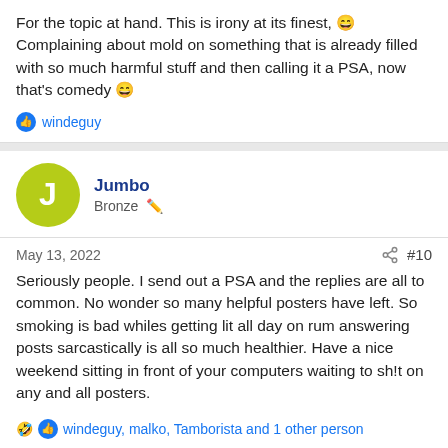For the topic at hand. This is irony at its finest, 😄 Complaining about mold on something that is already filled with so much harmful stuff and then calling it a PSA, now that's comedy 😄
👍 windeguy
Jumbo
Bronze
May 13, 2022   #10
Seriously people. I send out a PSA and the replies are all to common. No wonder so many helpful posters have left. So smoking is bad whiles getting lit all day on rum answering posts sarcastically is all so much healthier. Have a nice weekend sitting in front of your computers waiting to sh!t on any and all posters.
🤣👍 windeguy, malko, Tamborista and 1 other person
NanSanPedro
Nickel with tin plating